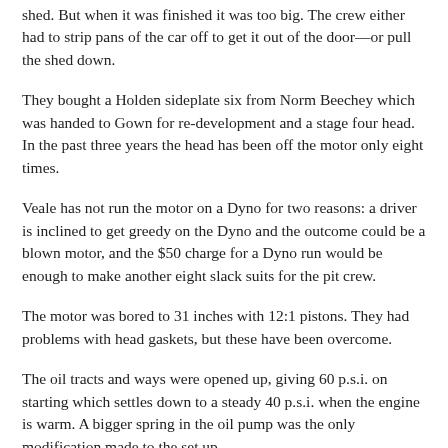shed. But when it was finished it was too big. The crew either had to strip pans of the car off to get it out of the door—or pull the shed down.
They bought a Holden sideplate six from Norm Beechey which was handed to Gown for re-development and a stage four head. In the past three years the head has been off the motor only eight times.
Veale has not run the motor on a Dyno for two reasons: a driver is inclined to get greedy on the Dyno and the outcome could be a blown motor, and the $50 charge for a Dyno run would be enough to make another eight slack suits for the pit crew.
The motor was bored to 31 inches with 12:1 pistons. They had problems with head gaskets, but these have been overcome.
The oil tracts and ways were opened up, giving 60 p.s.i. on starting which settles down to a steady 40 p.s.i. when the engine is warm. A bigger spring in the oil pump was the only modification made to the set up.